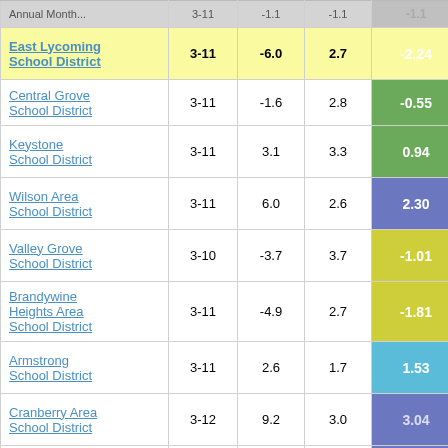| School District | Grades | Col3 | Col4 | Score |  |
| --- | --- | --- | --- | --- | --- |
| [partial row] | 3-11 | -1.1 | -1.1 | -1.1 | 4 |
| East Lycoming School District | 3-11 | -6.0 | 2.7 | -2.24 | 4 |
| Central Grove School District | 3-11 | -1.6 | 2.8 | -0.55 |  |
| Keystone School District | 3-11 | 3.1 | 3.3 | 0.94 |  |
| Wilson Area School District | 3-11 | 6.0 | 2.6 | 2.30 |  |
| Valley Grove School District | 3-10 | -3.7 | 3.7 | -1.01 |  |
| Brandywine Heights Area School District | 3-11 | -4.9 | 2.7 | -1.81 |  |
| Armstrong School District | 3-11 | 2.6 | 1.7 | 1.53 |  |
| Cranberry Area School District | 3-12 | 9.2 | 3.0 | 3.04 |  |
| Eastern |  |  |  |  |  |